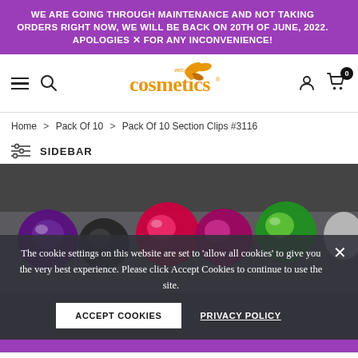WE ARE GOING THROUGH MAINTENANCE AND NOT TAKING ORDERS RIGHT NOW, WE WILL BE BACK ON 20TH OF JUNE, 2022. APOLOGIES FOR ANY INCONVENIENCE!
[Figure (logo): WebCosmetics logo — stylized orange 'cosmetics' text with leaf graphics]
Home > Pack Of 10 > Pack Of 10 Section Clips #3116
SIDEBAR
[Figure (photo): Pack of colorful section clips in shades of purple, red/pink, green, and white, packaged in clear plastic]
The cookie settings on this website are set to 'allow all cookies' to give you the very best experience. Please click Accept Cookies to continue to use the site.
ACCEPT COOKIES
PRIVACY POLICY